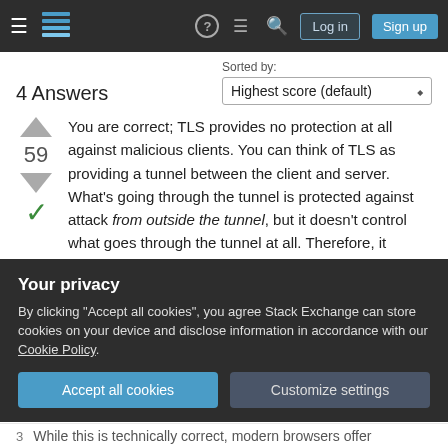Stack Exchange navigation header with hamburger menu, logo, help, chat, search icons, Log in and Sign up buttons
4 Answers
Sorted by: Highest score (default)
You are correct; TLS provides no protection at all against malicious clients. You can think of TLS as providing a tunnel between the client and server. What's going through the tunnel is protected against attack from outside the tunnel, but it doesn't control what goes through the tunnel at all. Therefore, it doesn't protect against attacks launched through the
Your privacy
By clicking "Accept all cookies", you agree Stack Exchange can store cookies on your device and disclose information in accordance with our Cookie Policy.
Accept all cookies  Customize settings
While this is technically correct, modern browsers offer